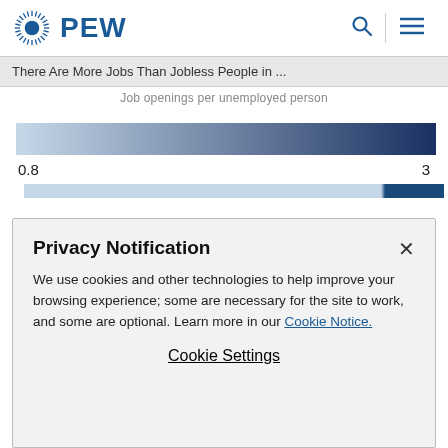PEW
There Are More Jobs Than Jobless People in ...
Job openings per unemployed person
[Figure (other): Color gradient bar ranging from light blue (0.8) on the left to dark navy blue (3) on the right, representing job openings per unemployed person scale.]
[Figure (other): Partial second gradient/map bar partially visible at bottom, mostly light blue with a dark blue section on the right.]
Privacy Notification
We use cookies and other technologies to help improve your browsing experience; some are necessary for the site to work, and some are optional. Learn more in our Cookie Notice.
Cookie Settings